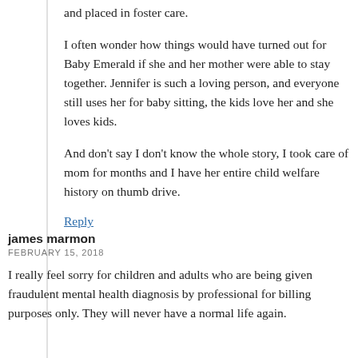and placed in foster care.
I often wonder how things would have turned out for Baby Emerald if she and her mother were able to stay together. Jennifer is such a loving person, and everyone still uses her for baby sitting, the kids love her and she loves kids.
And don’t say I don’t know the whole story, I took care of mom for months and I have her entire child welfare history on thumb drive.
Reply
james marmon
FEBRUARY 15, 2018
I really feel sorry for children and adults who are being given fraudulent mental health diagnosis by professional for billing purposes only. They will never have a normal life again.